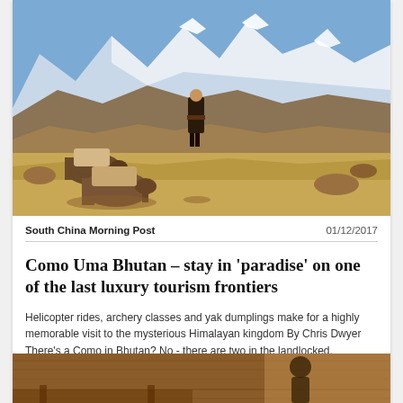[Figure (photo): Himalayan mountain landscape with snow-capped peaks, golden grassland, a person in traditional Bhutanese dress walking, and pack animals (yaks/horses) in the foreground.]
South China Morning Post    01/12/2017
Como Uma Bhutan – stay in 'paradise' on one of the last luxury tourism frontiers
Helicopter rides, archery classes and yak dumplings make for a highly memorable visit to the mysterious Himalayan kingdom By Chris Dwyer There's a Como in Bhutan? No - there are two in the landlocked, mysterious Himalayan Buddhist kingdom whose name means "land of the thunder dragon".
[Figure (photo): Partial view of an interior scene, bottom of page, showing warm wooden tones — appears to be a lodge or hotel interior in Bhutan.]